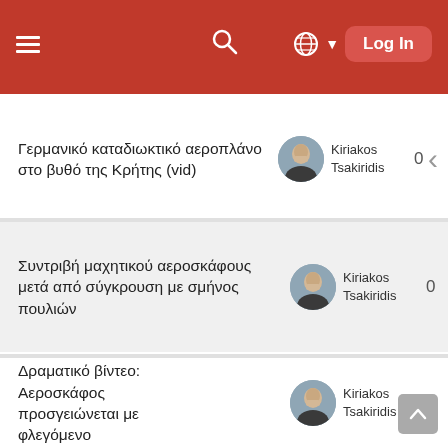≡  🔍  🌐 ▼  Log In
Γερμανικό καταδιωκτικό αεροπλάνο στο βυθό της Κρήτης (vid) — Kiriakos Tsakiridis — 0
Συντριβή μαχητικού αεροσκάφους μετά από σύγκρουση με σμήνος πουλιών — Kiriakos Tsakiridis — 0
Δραματικό βίντεο: Αεροσκάφος προσγειώνεται με φλεγόμενο — Kiriakos Tsakiridis — 0